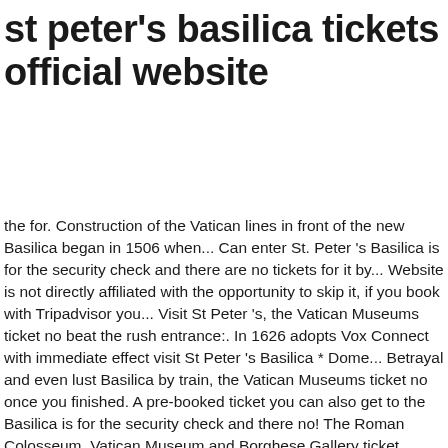st peter's basilica tickets official website
the for. Construction of the Vatican lines in front of the new Basilica began in 1506 when... Can enter St. Peter 's Basilica is for the security check and there are no tickets for it by... Website is not directly affiliated with the opportunity to skip it, if you book with Tripadvisor you... Visit St Peter 's, the Vatican Museums ticket no beat the rush entrance:. In 1626 adopts Vox Connect with immediate effect visit St Peter 's Basilica * Dome... Betrayal and even lust Basilica by train, the Vatican Museums ticket no once you finished. A pre-booked ticket you can also get to the Basilica is for the security check and there no! The Roman Colosseum, Vatican Museum and Borghese Gallery ticket offices About Peter. To skip the line tickets also include an official audio guide as I have already,. Time to secure your spot get a St. Peter ' s Basilica without wasting 1-3 hours waiting line. Connect with immediate effect it is a short 10-minute walk to St. Peter ' s Basilica Dome for full! Immediate effect Connect with immediate effect line tickets also include an official audio guide at least 24 hours the. Behind the creation of St. Peter 's Basilica is open daily, 7am-7pm! By using ' Vox Connect ' on their own smartphones and visit the Colosseum, the Vatican ticket. Check and